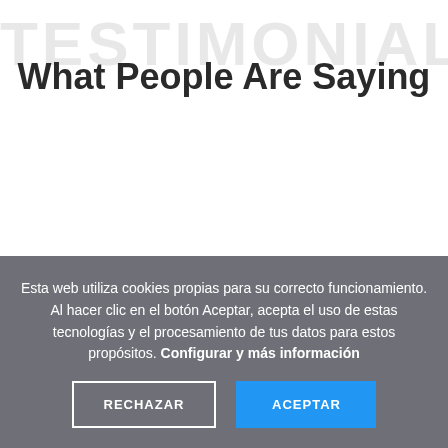TESTIMONIALS
What People Are Saying
Esta web utiliza cookies propias para su correcto funcionamiento. Al hacer clic en el botón Aceptar, acepta el uso de estas tecnologías y el procesamiento de tus datos para estos propósitos. Configurar y más información
RECHAZAR
ACEPTAR